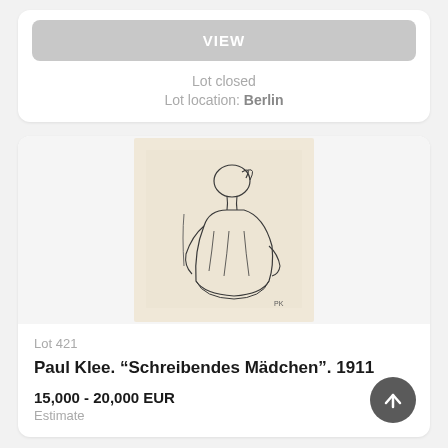VIEW
Lot closed
Lot location: Berlin
[Figure (illustration): Pencil sketch drawing of a young woman seated, writing, facing left in profile. The drawing is on a cream/beige paper. Artist: Paul Klee, 1911.]
Lot 421
Paul Klee. “Schreibendes Mädchen”. 1911
15,000 - 20,000 EUR
Estimate